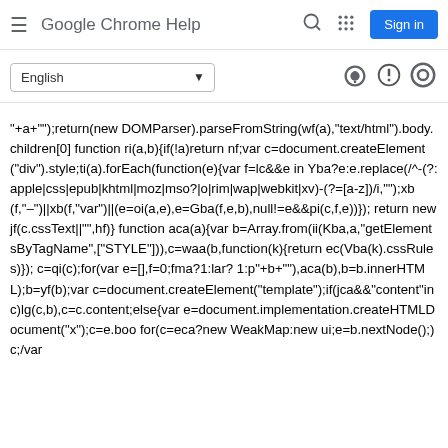Google Chrome Help
English (dropdown)
"+a+"");return(new DOMParser).parseFromString(wf(a),"text/html").body.children[0] function ri(a,b){if(!a)return nf;var c=document.createElement("div").style;ti(a).forEach(function(e){var f=lc&&e in Yba?e:e.replace(/^-(?:apple|css|epub|khtml|moz|mso?|o|rim|wap|webkit|xv)-(?=[a-z])/i,"");xb(f,"-")||xb(f,"var")||(e=oi(a,e),e=Gba(f,e,b),null!=e&&pi(c,f,e))}); return new jf(c.cssText||"",hf)} function aca(a){var b=Array.from(ii(Kba,a,"getElementsByTagName",["STYLE"])),c=waa(b,function(k){return ec(Vba(k).cssRules)}); c=qi(c);for(var e=[],f=0;fma?1:lar? 1:p"+b+""),aca(b),b=b.innerHTML);b=yf(b);var c=document.createElement("template");if(jca&&"content"in c)lg(c,b),c=c.content;else{var e=document.implementation.createHTMLDocument("x");c=e.boo for(c=eca?new WeakMap:new ui;e=b.nextNode();)c;/var